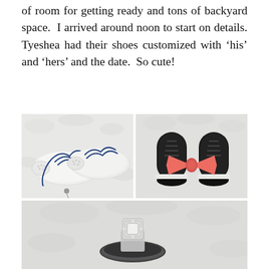of room for getting ready and tons of backyard space.  I arrived around noon to start on details. Tyeshea had their shoes customized with ‘his’ and ‘hers’ and the date.  So cute!
[Figure (photo): Top-left: White Converse sneakers with blue laces and rhinestone toe caps on a white fluffy surface. Top-right: Black Converse sneakers with a coral/pink bow tie resting on top, on a white fluffy surface. Bottom: Close-up of wedding rings on a white fluffy surface, showing a diamond engagement ring inside a dark band ring.]